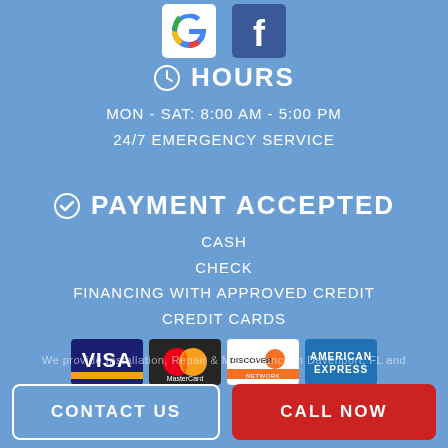[Figure (logo): Google logo and Facebook logo icons at top center]
HOURS
MON - SAT: 8:00 AM - 5:00 PM
24/7 EMERGENCY SERVICE
PAYMENT ACCEPTED
CASH
CHECK
FINANCING WITH APPROVED CREDIT
CREDIT CARDS
[Figure (logo): Visa, MasterCard, Discover Network, and American Express credit card logos]
We provide Installation, Repair & Maintenance in Davenport, FL and
CONTACT US
CALL NOW